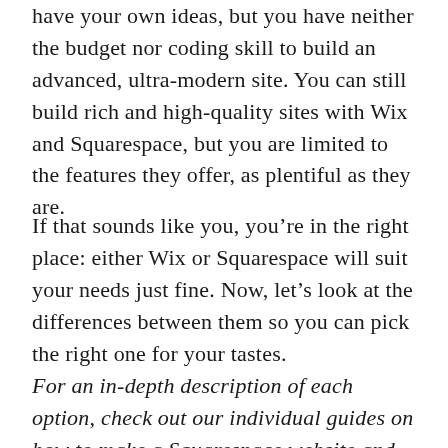have your own ideas, but you have neither the budget nor coding skill to build an advanced, ultra-modern site. You can still build rich and high-quality sites with Wix and Squarespace, but you are limited to the features they offer, as plentiful as they are.
If that sounds like you, you’re in the right place: either Wix or Squarespace will suit your needs just fine. Now, let’s look at the differences between them so you can pick the right one for your tastes.
For an in-depth description of each option, check out our individual guides on how to make a Squarespace website and how to make a Wix